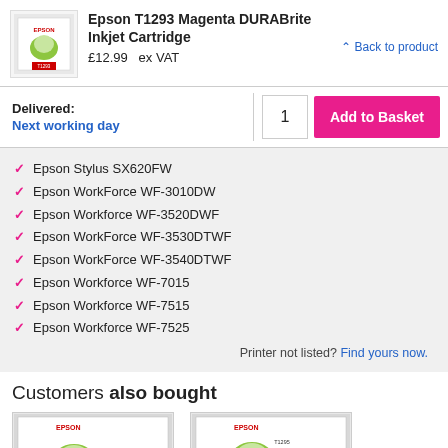[Figure (photo): Epson T1293 magenta inkjet cartridge product image showing apple graphic on packaging]
Epson T1293 Magenta DURABrite Inkjet Cartridge
£12.99  ex VAT
Back to product
Delivered:
Next working day
1
Add to Basket
Epson Stylus SX620FW
Epson WorkForce WF-3010DW
Epson Workforce WF-3520DWF
Epson WorkForce WF-3530DTWF
Epson WorkForce WF-3540DTWF
Epson Workforce WF-7015
Epson Workforce WF-7515
Epson Workforce WF-7525
Printer not listed? Find yours now.
Customers also bought
[Figure (photo): Epson Black T1291 inkjet cartridge product image]
[Figure (photo): Epson T1295 Multipack inkjet cartridge product image]